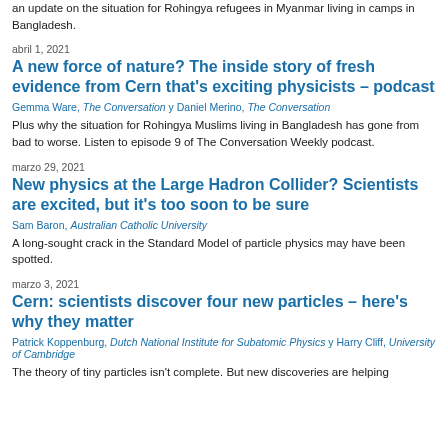an update on the situation for Rohingya refugees in Myanmar living in camps in Bangladesh.
abril 1, 2021
A new force of nature? The inside story of fresh evidence from Cern that's exciting physicists – podcast
Gemma Ware, The Conversation y Daniel Merino, The Conversation
Plus why the situation for Rohingya Muslims living in Bangladesh has gone from bad to worse. Listen to episode 9 of The Conversation Weekly podcast.
marzo 29, 2021
New physics at the Large Hadron Collider? Scientists are excited, but it's too soon to be sure
Sam Baron, Australian Catholic University
A long-sought crack in the Standard Model of particle physics may have been spotted.
marzo 3, 2021
Cern: scientists discover four new particles – here's why they matter
Patrick Koppenburg, Dutch National Institute for Subatomic Physics y Harry Cliff, University of Cambridge
The theory of tiny particles isn't complete. But new discoveries are helping